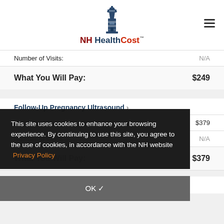NH HealthCost
| Label | Value |
| --- | --- |
| Number of Visits: | N/A |
| What You Will Pay: | $249 |
Follow-Up Pregnancy Ultrasound ›
| Label | Value |
| --- | --- |
| Number of Records: | $379 |
| Number of Visits: | N/A |
| What You Will Pay: | $379 |
Gonorrhoea (Neisseria Gonorrhoeae Bacteria)
This site uses cookies to enhance your browsing experience. By continuing to use this site, you agree to the use of cookies, in accordance with the NH website Privacy Policy
OK ✓